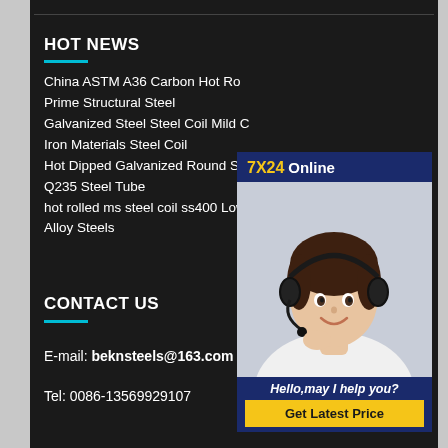HOT NEWS
China ASTM A36 Carbon Hot Ro... Prime Structural Steel
Galvanized Steel Steel Coil Mild C... Iron Materials Steel Coil
Hot Dipped Galvanized Round St... Q235 Steel Tube
hot rolled ms steel coil ss400 Low... Alloy Steels
[Figure (photo): Chat widget with a customer service representative wearing a headset, '7X24 Online' header in navy/gold, 'Hello,may I help you?' text, and 'Get Latest Price' yellow button]
CONTACT US
E-mail: beknsteels@163.com
Tel: 0086-13569929107
Address...